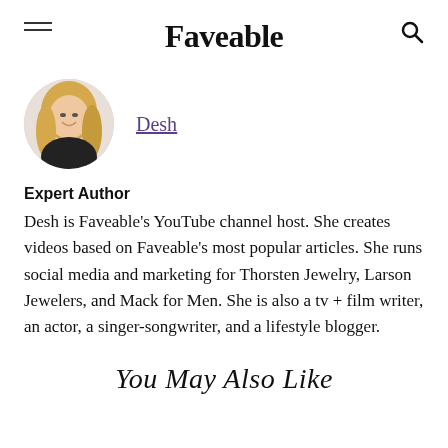Faveable
[Figure (photo): Circular profile photo of a smiling woman with long blonde hair wearing a black top, on a white background.]
Desh
Expert Author
Desh is Faveable's YouTube channel host. She creates videos based on Faveable's most popular articles. She runs social media and marketing for Thorsten Jewelry, Larson Jewelers, and Mack for Men. She is also a tv + film writer, an actor, a singer-songwriter, and a lifestyle blogger.
You May Also Like